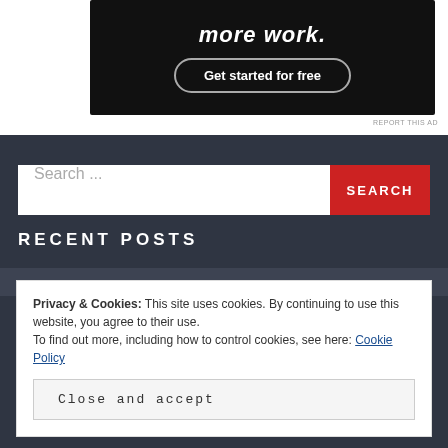[Figure (screenshot): Dark advertisement banner with bold italic white text 'more work.' and a rounded button 'Get started for free']
REPORT THIS AD
Search ...
SEARCH
RECENT POSTS
Privacy & Cookies: This site uses cookies. By continuing to use this website, you agree to their use.
To find out more, including how to control cookies, see here: Cookie Policy
Close and accept